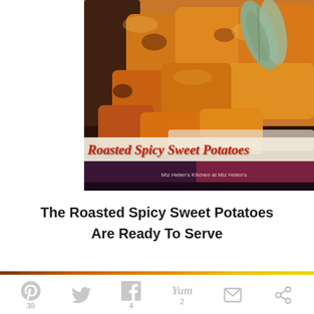[Figure (photo): Photo of roasted spicy sweet potato chunks on a plate with sage leaves, with text overlay 'Roasted Spicy Sweet Potatoes' in red italic font on a cream band, and 'Miz Helen's Kitchen at Miz Helen's' watermark on a dark bottom band.]
The Roasted Spicy Sweet Potatoes
Are Ready To Serve
[Figure (infographic): Social share bar with Pinterest (38), Twitter, Facebook (4), Yummly (2), Email, and another share icon buttons in grey.]